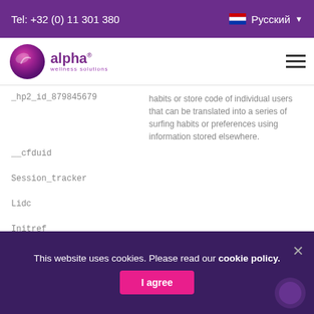Tel: +32 (0) 11 301 380  Русский
[Figure (logo): Alpha Wellness Solutions logo with purple globe and alpha text]
| Cookie Name | Description |
| --- | --- |
| _hp2_id_879845679 | habits or store code of individual users that can be translated into a series of surfing habits or preferences using information stored elsewhere. |
| __cfduid |  |
| Session_tracker |  |
| Lidc |  |
| Initref |  |
This website uses cookies. Please read our cookie policy.
I agree